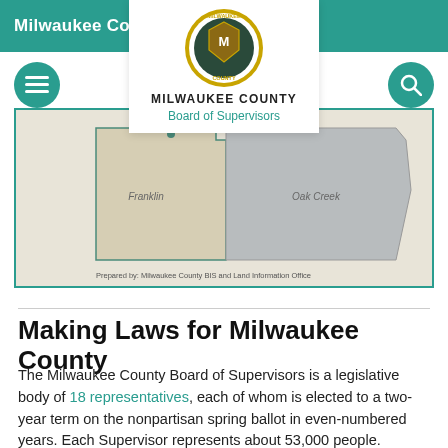Milwaukee County
[Figure (logo): Milwaukee County seal/logo with text MILWAUKEE COUNTY Board of Supervisors]
[Figure (map): Partial map of Milwaukee County showing district boundaries including Franklin and Oak Creek areas. Prepared by: Milwaukee County BIS and Land Information Office.]
Making Laws for Milwaukee County
The Milwaukee County Board of Supervisors is a legislative body of 18 representatives, each of whom is elected to a two-year term on the nonpartisan spring ballot in even-numbered years. Each Supervisor represents about 53,000 people.